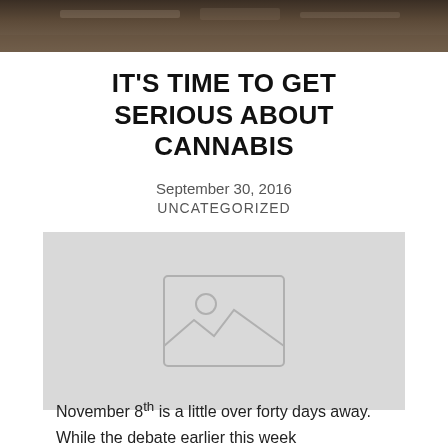[Figure (photo): Dark photograph at top of page showing blurred objects, likely a desk scene]
IT'S TIME TO GET SERIOUS ABOUT CANNABIS
September 30, 2016
UNCATEGORIZED
[Figure (illustration): Image placeholder graphic with mountain/landscape icon]
November 8th is a little over forty days away. While the debate earlier this week